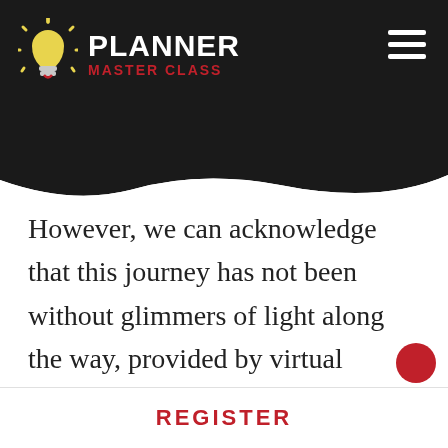[Figure (logo): Planner Master Class logo with lightbulb icon, white text 'PLANNER' and red text 'MASTER CLASS' on dark background]
However, we can acknowledge that this journey has not been without glimmers of light along the way, provided by virtual gatherings centered around art, music, and entertainment.  The arts have both uplifted and grounded
REGISTER